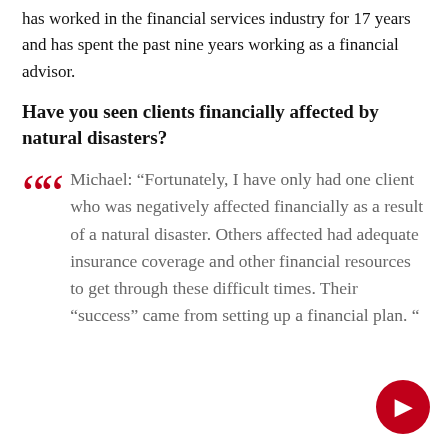has worked in the financial services industry for 17 years and has spent the past nine years working as a financial advisor.
Have you seen clients financially affected by natural disasters?
Michael: “Fortunately, I have only had one client who was negatively affected financially as a result of a natural disaster. Others affected had adequate insurance coverage and other financial resources to get through these difficult times. Their “success” came from setting up a financial plan. ”